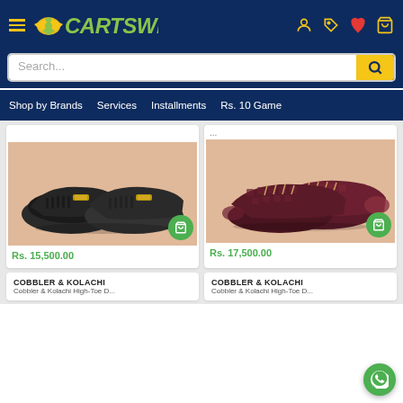[Figure (screenshot): CartSwing e-commerce website header with logo, search bar, navigation menu, and two shoe product listings showing loafer (Rs. 15,500.00) and dress shoe (Rs. 17,500.00), with COBBLER & KOLACHI brand cards at bottom]
CartSwing
Search...
Shop by Brands
Services
Installments
Rs. 10 Game
...
Rs. 15,500.00
Rs. 17,500.00
COBBLER & KOLACHI
COBBLER & KOLACHI